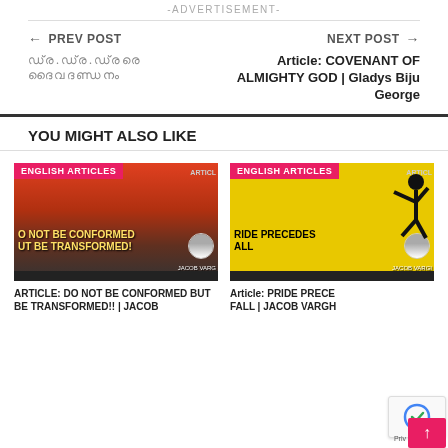-ADVERTISEMENT-
← PREV POST | NEXT POST →
ഡ്ര.ഡ്ര.ഡ്രരെ ദൈവദണ്ഡനം
Article: COVENANT OF ALMIGHTY GOD | Gladys Biju George
YOU MIGHT ALSO LIKE
[Figure (photo): Article thumbnail: DO NOT BE CONFORMED BUT BE TRANSFORMED!! - sunset with cross silhouette, yellow text]
[Figure (photo): Article thumbnail: PRIDE PRECEDES FALL - yellow background with falling figure silhouette]
ARTICLE: DO NOT BE CONFORMED BUT BE TRANSFORMED!! | JACOB VARG
Article: PRIDE PRECEDES FALL | JACOB VARGH